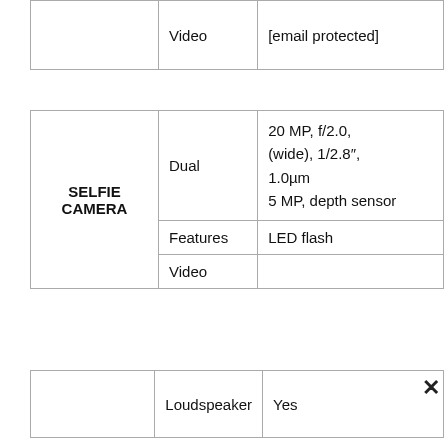|  | Video | [email protected] |
| SELFIE CAMERA | Dual | 20 MP, f/2.0, (wide), 1/2.8″, 1.0μm
5 MP, depth sensor |
|  | Features | LED flash |
|  | Video |  |
|  | Loudspeaker | Yes |